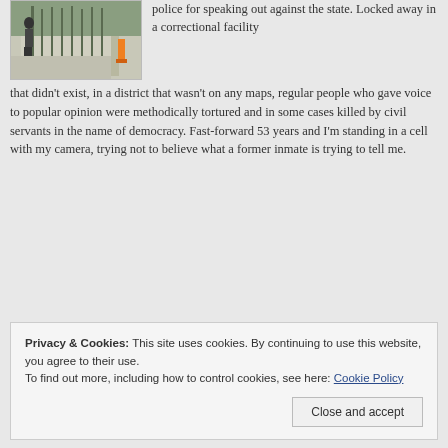[Figure (photo): A photo showing a sidewalk/path along a fence or wall, with a person visible and an orange post or bollard. Outdoor scene.]
police for speaking out against the state. Locked away in a correctional facility that didn't exist, in a district that wasn't on any maps, regular people who gave voice to popular opinion were methodically tortured and in some cases killed by civil servants in the name of democracy. Fast-forward 53 years and I'm standing in a cell with my camera, trying not to believe what a former inmate is trying to tell me.
Privacy & Cookies: This site uses cookies. By continuing to use this website, you agree to their use.
To find out more, including how to control cookies, see here: Cookie Policy
Close and accept